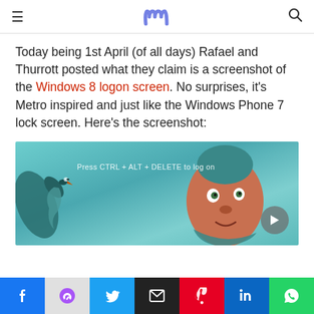m (logo)
Today being 1st April (of all days) Rafael and Thurrott posted what they claim is a screenshot of the Windows 8 logon screen. No surprises, it's Metro inspired and just like the Windows Phone 7 lock screen. Here's the screenshot:
[Figure (screenshot): Screenshot showing a Windows 8 logon screen with text 'Press CTRL + ALT + DELETE to log on' overlaid on an artistic image of a surreal face and a bird, teal/blue background. A play button is visible in the bottom right corner.]